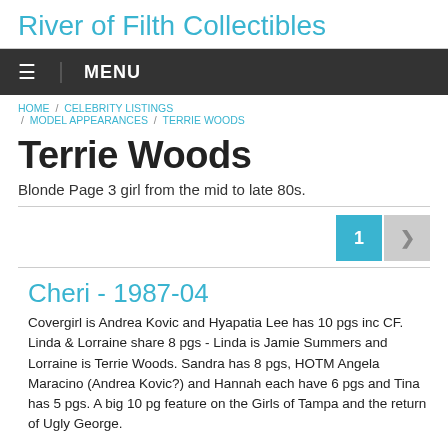River of Filth Collectibles
MENU
HOME / CELEBRITY LISTINGS / MODEL APPEARANCES / TERRIE WOODS
Terrie Woods
Blonde Page 3 girl from the mid to late 80s.
1
Cheri - 1987-04
Covergirl is Andrea Kovic and Hyapatia Lee has 10 pgs inc CF. Linda & Lorraine share 8 pgs - Linda is Jamie Summers and Lorraine is Terrie Woods. Sandra has 8 pgs, HOTM Angela Maracino (Andrea Kovic?) and Hannah each have 6 pgs and Tina has 5 pgs. A big 10 pg feature on the Girls of Tampa and the return of Ugly George.